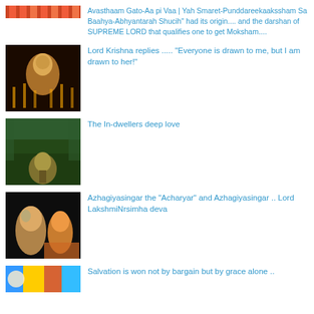Avasthaam Gato-Aa pi Vaa | Yah Smaret-Punddareenkaakssham Sa Baahya-Abhyantarah Shucih" had its origin.... and the darshan of SUPREME LORD that qualifies one to get Moksham....
[Figure (photo): Dark religious image with candles and deity]
Lord Krishna replies ..... “Everyone is drawn to me, but I am drawn to her!”
[Figure (photo): Forest scene with golden deity statue]
The In-dwellers deep love
[Figure (photo): Black background with Ganesha statues]
Azhagiyasingar the "Acharyar" and Azhagiyasingar .. Lord LakshmiNrsimha deva
[Figure (photo): Colorful image at bottom]
Salvation is won not by bargain but by grace alone ..